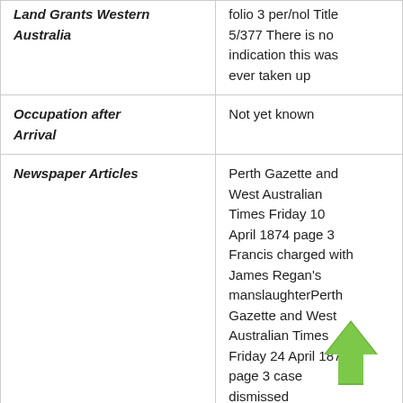| Land Grants Western Australia | folio 3 per/nol Title 5/377 There is no indication this was ever taken up |
| Occupation after Arrival | Not yet known |
| Newspaper Articles | Perth Gazette and West Australian Times Friday 10 April 1874 page 3 Francis charged with James Regan's manslaughterPerth Gazette and West Australian Times Friday 24 April 1874 page 3 case dismissed |